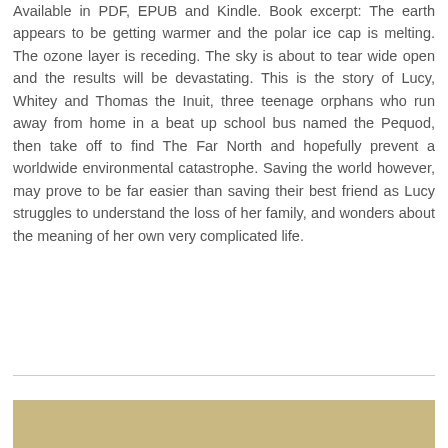Available in PDF, EPUB and Kindle. Book excerpt: The earth appears to be getting warmer and the polar ice cap is melting. The ozone layer is receding. The sky is about to tear wide open and the results will be devastating. This is the story of Lucy, Whitey and Thomas the Inuit, three teenage orphans who run away from home in a beat up school bus named the Pequod, then take off to find The Far North and hopefully prevent a worldwide environmental catastrophe. Saving the world however, may prove to be far easier than saving their best friend as Lucy struggles to understand the loss of her family, and wonders about the meaning of her own very complicated life.
[Figure (photo): Partial view of a book cover image with a tan/gold background color, partially visible at the bottom of the page.]